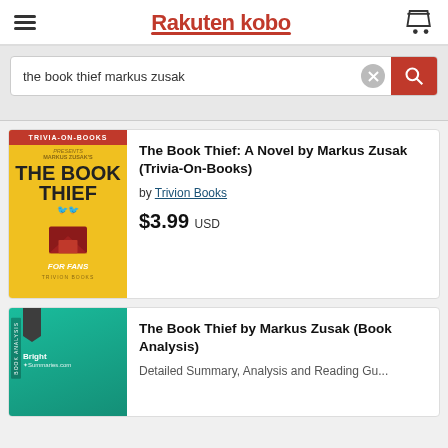[Figure (logo): Rakuten Kobo logo with hamburger menu and cart icon]
the book thief markus zusak
[Figure (photo): Book cover: The Book Thief: A Novel by Markus Zusak (Trivia-On-Books), yellow and red cover by Trivion Books]
The Book Thief: A Novel by Markus Zusak (Trivia-On-Books)
by Trivion Books
$3.99 USD
[Figure (photo): Book cover: The Book Thief by Markus Zusak (Book Analysis), teal cover by Bright Summaries]
The Book Thief by Markus Zusak (Book Analysis)
Detailed Summary, Analysis and Reading Gu...